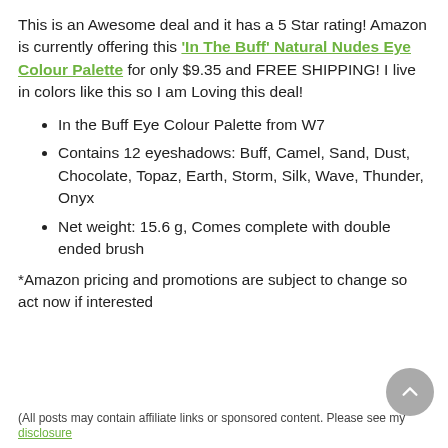This is an Awesome deal and it has a 5 Star rating! Amazon is currently offering this 'In The Buff' Natural Nudes Eye Colour Palette for only $9.35 and FREE SHIPPING! I live in colors like this so I am Loving this deal!
In the Buff Eye Colour Palette from W7
Contains 12 eyeshadows: Buff, Camel, Sand, Dust, Chocolate, Topaz, Earth, Storm, Silk, Wave, Thunder, Onyx
Net weight: 15.6 g, Comes complete with double ended brush
*Amazon pricing and promotions are subject to change so act now if interested
(All posts may contain affiliate links or sponsored content. Please see my disclosure